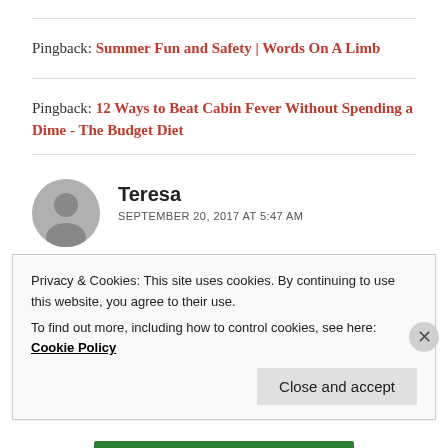Pingback: Summer Fun and Safety | Words On A Limb
Pingback: 12 Ways to Beat Cabin Fever Without Spending a Dime - The Budget Diet
Teresa
SEPTEMBER 20, 2017 AT 5:47 AM
Privacy & Cookies: This site uses cookies. By continuing to use this website, you agree to their use. To find out more, including how to control cookies, see here: Cookie Policy
Close and accept